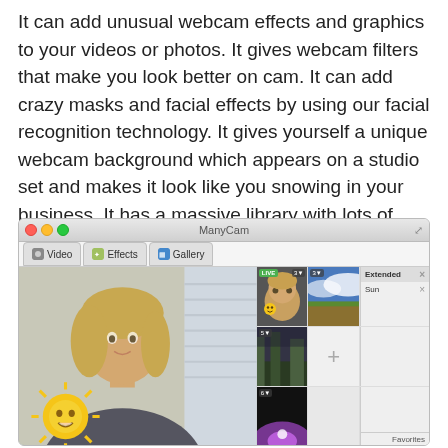It can add unusual webcam effects and graphics to your videos or photos. It gives webcam filters that make you look better on cam. It can add crazy masks and facial effects by using our facial recognition technology. It gives yourself a unique webcam background which appears on a studio set and makes it look like you snowing in your business. It has a massive library with lots of effects. It contains numerous awesome new features like as YouTube integration or mobile abilities. VueScan 9 Crack.
[Figure (screenshot): ManyCam application screenshot showing a Mac OS X window with Video, Effects, and Gallery tabs. The main view shows a blonde woman with a sun emoji overlay. The right panel shows thumbnail previews including a LIVE feed, sky background, forest, and a purple abstract image. A sidebar shows 'Extended' and 'Sun' items. A Favorites bar is at the bottom.]